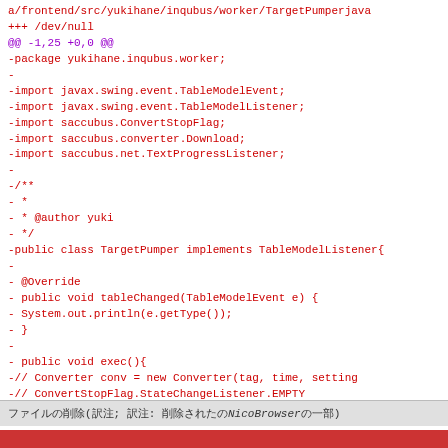[Figure (screenshot): Code diff showing deletion of a Java file TargetPumper.java from yukihane.inqubus.worker package, with lines shown in red prefixed with minus signs, and diff header in purple.]
ファイルの削除(訳注; 訳注: 削除されたNicoBrowserの一部)